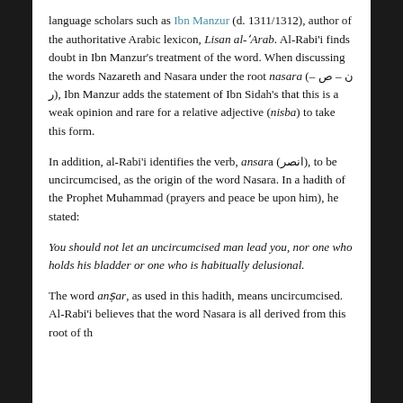language scholars such as Ibn Manzur (d. 1311/1312), author of the authoritative Arabic lexicon, Lisan al-'Arab. Al-Rabi'i finds doubt in Ibn Manzur's treatment of the word. When discussing the words Nazareth and Nasara under the root nasara (ن – ص – ر), Ibn Manzur adds the statement of Ibn Sidah's that this is a weak opinion and rare for a relative adjective (nisba) to take this form.
In addition, al-Rabi'i identifies the verb, ansara (انصر), to be uncircumcised, as the origin of the word Nasara. In a hadith of the Prophet Muhammad (prayers and peace be upon him), he stated:
You should not let an uncircumcised man lead you, nor one who holds his bladder or one who is habitually delusional.
The word ansar, as used in this hadith, means uncircumcised. Al-Rabi'i believes that the word Nasara is all derived from this root of the...